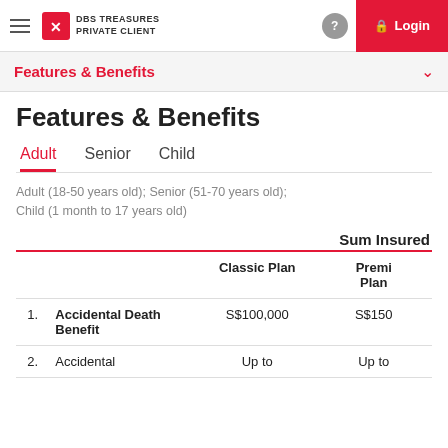DBS TREASURES PRIVATE CLIENT
Features & Benefits
Features & Benefits
Adult (18-50 years old); Senior (51-70 years old); Child (1 month to 17 years old)
|  |  | Classic Plan | Premi Plan |
| --- | --- | --- | --- |
| 1. | Accidental Death Benefit | S$100,000 | S$150 |
| 2. | Accidental | Up to | Up to |